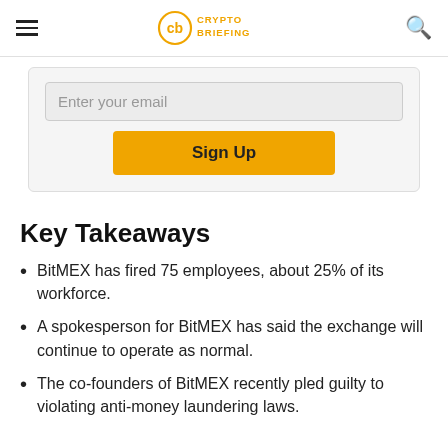Crypto Briefing
Enter your email
Sign Up
Key Takeaways
BitMEX has fired 75 employees, about 25% of its workforce.
A spokesperson for BitMEX has said the exchange will continue to operate as normal.
The co-founders of BitMEX recently pled guilty to violating anti-money laundering laws.